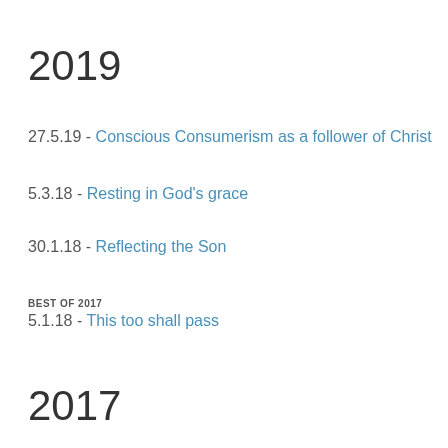2019
27.5.19  -  Conscious Consumerism as a follower of Christ
5.3.18  -  Resting in God's grace
30.1.18  -  Reflecting the Son
BEST OF 2017
5.1.18  -  This too shall pass
2017